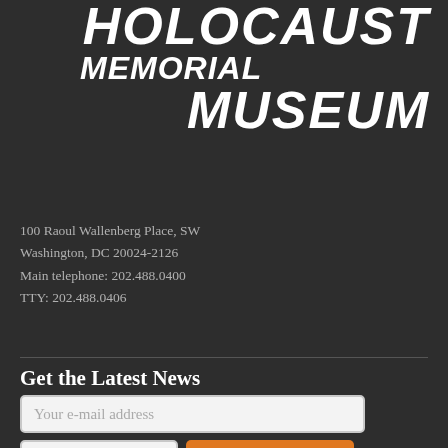HOLOCAUST MEMORIAL MUSEUM
100 Raoul Wallenberg Place, SW
Washington, DC 20024-2126
Main telephone: 202.488.0400
TTY: 202.488.0406
Get the Latest News
Your e-mail address
Postal Code
SUBSCRIBE
Plan Your Visit